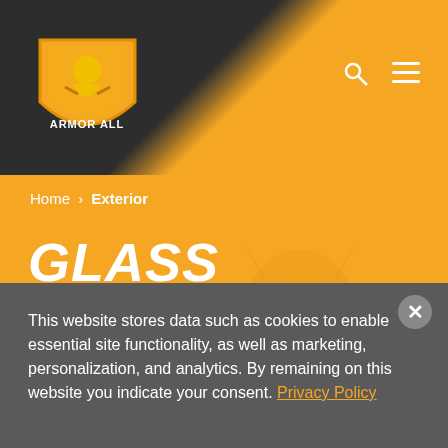[Figure (logo): Armor All logo — shield shape with knight figure, orange and yellow on dark background]
Home › Exterior
GLASS
Come rain or shine, keep your car looking in showroom condition by using a car exterior cleaner by Armor All®. Give bumpers a boost and touch up tires and trim with exterior car wipes, sprays and waxes or explore our selection of car wash products to keep
This website stores data such as cookies to enable essential site functionality, as well as marketing, personalization, and analytics. By remaining on this website you indicate your consent. Privacy Policy